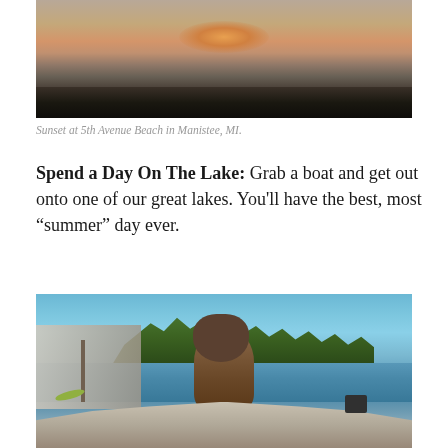[Figure (photo): Sunset over a lake or beach, with orange glow on the water horizon and dark silhouetted shoreline in the foreground]
Sunset at 5th Avenue Beach in Manistee, MI.
Spend a Day On The Lake: Grab a boat and get out onto one of our great lakes. You'll have the best, most “summer” day ever.
[Figure (photo): Person sitting on a boat on a lake with a clear blue sky, green trees along the shore on the right, and another boat docked on the left]